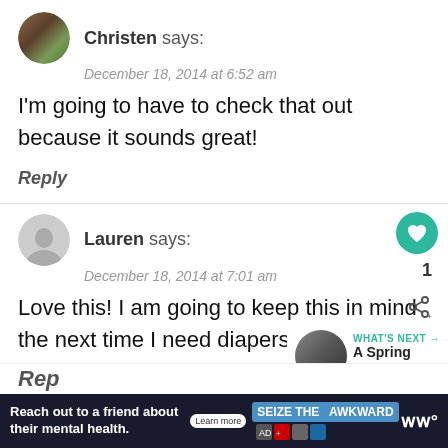Christen says:
December 18, 2014 at 6:52 am
I'm going to have to check that out because it sounds great!
Reply
Lauren says:
December 18, 2014 at 7:01 am
Love this! I am going to keep this in mind the next time I need diapers.
WHAT'S NEXT → A Spring Surprise
Reach out to a friend about their mental health. Learn more | SEIZE THE AWKWARD